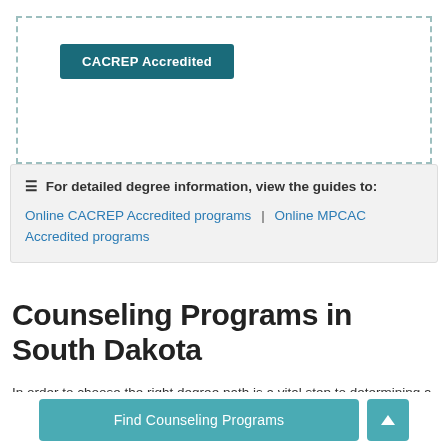[Figure (other): CACREP Accredited button inside a dashed border box]
≡ For detailed degree information, view the guides to: Online CACREP Accredited programs | Online MPCAC Accredited programs
Counseling Programs in South Dakota
In order to choose the right degree path is a vital step to determining a future in counseling. Undergraduate degrees provide learners with the opportunity to get entry level jobs
Find Counseling Programs